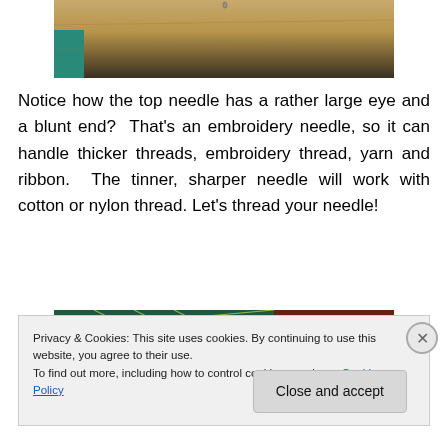[Figure (photo): Top portion of a photo showing a wooden surface with a teal/blue-green object at the left edge, possibly a needle on a table]
Notice how the top needle has a rather large eye and a blunt end?  That's an embroidery needle, so it can handle thicker threads, embroidery thread, yarn and ribbon.  The tinner, sharper needle will work with cotton or nylon thread. Let's thread your needle!
[Figure (photo): Photo showing a dark green cutting mat with yellow grid lines and a ruler, a circular metallic object at left, and a reddish-brown surface at the right]
Privacy & Cookies: This site uses cookies. By continuing to use this website, you agree to their use.
To find out more, including how to control cookies, see here: Cookie Policy